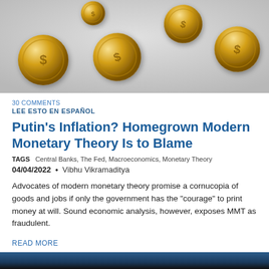[Figure (photo): Gold dollar coins falling/floating on a light gray background]
30 COMMENTS
LEE ESTO EN ESPAÑOL
Putin's Inflation? Homegrown Modern Monetary Theory Is to Blame
TAGS  Central Banks, The Fed, Macroeconomics, Monetary Theory
04/04/2022  •  Vibhu Vikramaditya
Advocates of modern monetary theory promise a cornucopia of goods and jobs if only the government has the "courage" to print money at will. Sound economic analysis, however, exposes MMT as fraudulent.
READ MORE